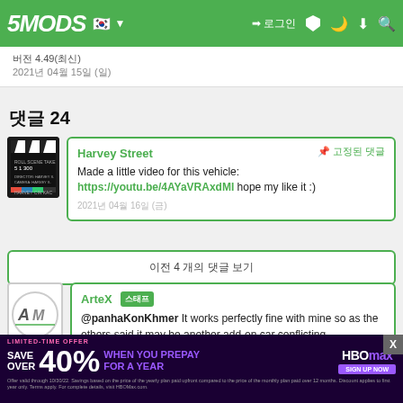5MODS
4.49
2021년 04월 15일 (일)
댓글 24
Harvey Street
Made a little video for this vehicle: https://youtu.be/4AYaVRAxdMI hope my like it :)
2021년 04월 16일 (금)
이전 4 개의 댓글
ArteX [스태프]
@panhaKonKhmer It works perfectly fine with mine so as the others said it may be another add-on car conflicting
[Figure (advertisement): HBO Max advertisement: SAVE OVER 40% WHEN YOU PREPAY FOR A YEAR]